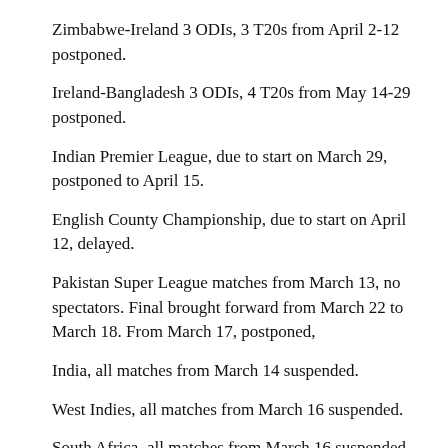Zimbabwe-Ireland 3 ODIs, 3 T20s from April 2-12 postponed.
Ireland-Bangladesh 3 ODIs, 4 T20s from May 14-29 postponed.
Indian Premier League, due to start on March 29, postponed to April 15.
English County Championship, due to start on April 12, delayed.
Pakistan Super League matches from March 13, no spectators. Final brought forward from March 22 to March 18. From March 17, postponed,
India, all matches from March 14 suspended.
West Indies, all matches from March 16 suspended.
South Africa, all matches from March 16 suspended.